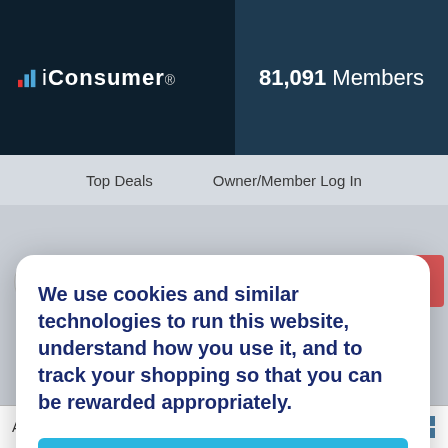iConsumer 81,091 Members
Top Deals   Owner/Member Log In
We use cookies and similar technologies to run this website, understand how you use it, and to track your shopping so that you can be rewarded appropriately.
Accept
Department Stores
A-Z: C